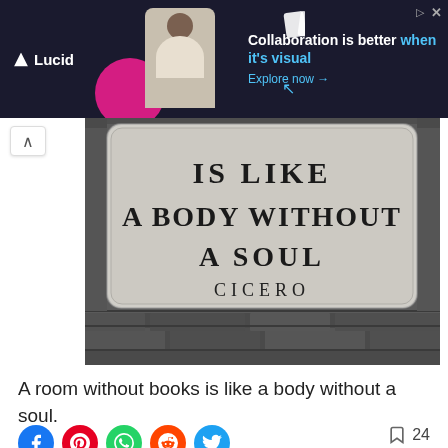[Figure (screenshot): Lucid advertisement banner with dark background, logo, person illustration, and text 'Collaboration is better when it's visual. Explore now →']
[Figure (photo): Black and white photo of a stone plaque on a brick wall reading 'IS LIKE A BODY WITHOUT A SOUL CICERO']
A room without books is like a body without a soul.
[Figure (infographic): Social sharing buttons row: Facebook, Pinterest, WhatsApp, Reddit, Twitter icons. Bookmark icon with count 24.]